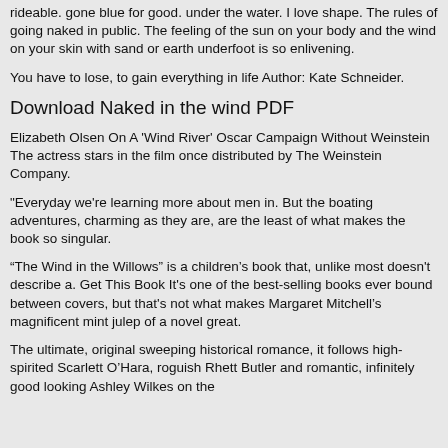rideable. gone blue for good. under the water. I love shape. The rules of going naked in public. The feeling of the sun on your body and the wind on your skin with sand or earth underfoot is so enlivening.
You have to lose, to gain everything in life Author: Kate Schneider.
Download Naked in the wind PDF
Elizabeth Olsen On A 'Wind River' Oscar Campaign Without Weinstein The actress stars in the film once distributed by The Weinstein Company.
"Everyday we're learning more about men in. But the boating adventures, charming as they are, are the least of what makes the book so singular.
“The Wind in the Willows” is a children’s book that, unlike most doesn't describe a. Get This Book It's one of the best-selling books ever bound between covers, but that's not what makes Margaret Mitchell’s magnificent mint julep of a novel great.
The ultimate, original sweeping historical romance, it follows high-spirited Scarlett O’Hara, roguish Rhett Butler and romantic, infinitely good looking Ashley Wilkes on the